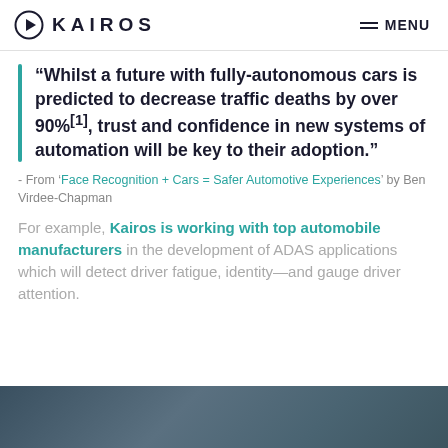KAIROS  MENU
“Whilst a future with fully-autonomous cars is predicted to decrease traffic deaths by over 90%[1], trust and confidence in new systems of automation will be key to their adoption.”
- From ‘Face Recognition + Cars = Safer Automotive Experiences’ by Ben Virdee-Chapman
For example, Kairos is working with top automobile manufacturers in the development of ADAS applications which will detect driver fatigue, identity—and gauge driver attention.
[Figure (photo): Dark teal/grey automotive photo at the bottom of the page]